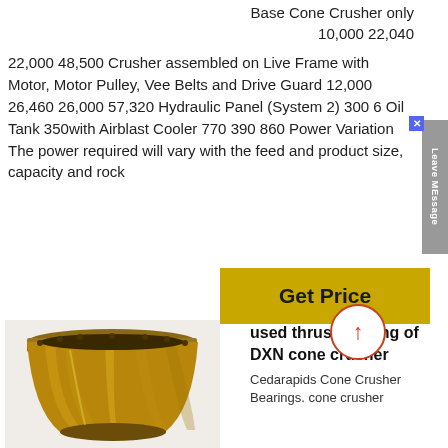Base Cone Crusher only 10,000 22,040
22,000 48,500 Crusher assembled on Live Frame with Motor, Motor Pulley, Vee Belts and Drive Guard 12,000 26,460 26,000 57,320 Hydraulic Panel (System 2) 300 6 Oil Tank 350with Airblast Cooler 770 390 860 Power Variation The power required will vary with the feed and product size, capacity and rock
[Figure (other): Get Price button - golden/yellow background with bold text]
[Figure (photo): Bronze cone crusher bushing/bearing component, cylindrical shape, metallic bronze color]
[Figure (other): Circular arrow icon with orange/red border pointing upward]
used thrust bearing of DXN cone crusher
Cedarapids Cone Crusher Bearings. cone crusher